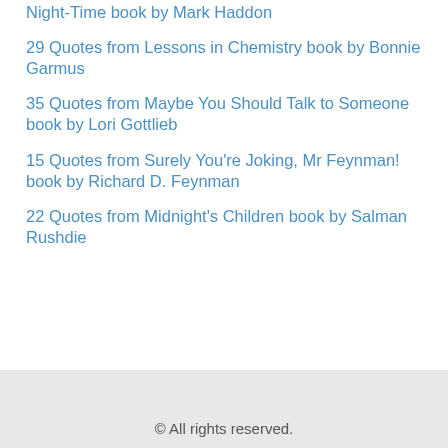Night-Time book by Mark Haddon
29 Quotes from Lessons in Chemistry book by Bonnie Garmus
35 Quotes from Maybe You Should Talk to Someone book by Lori Gottlieb
15 Quotes from Surely You're Joking, Mr Feynman! book by Richard D. Feynman
22 Quotes from Midnight's Children book by Salman Rushdie
© All rights reserved.